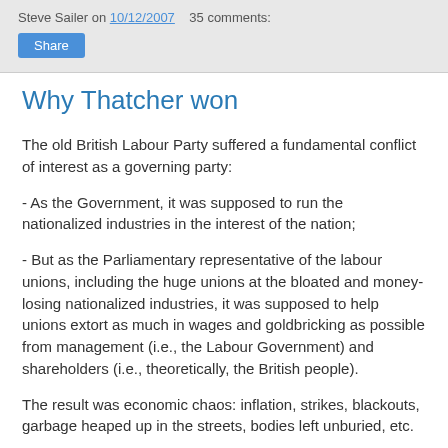Steve Sailer on 10/12/2007   35 comments:
Why Thatcher won
The old British Labour Party suffered a fundamental conflict of interest as a governing party:
- As the Government, it was supposed to run the nationalized industries in the interest of the nation;
- But as the Parliamentary representative of the labour unions, including the huge unions at the bloated and money-losing nationalized industries, it was supposed to help unions extort as much in wages and goldbricking as possible from management (i.e., the Labour Government) and shareholders (i.e., theoretically, the British people).
The result was economic chaos: inflation, strikes, blackouts, garbage heaped up in the streets, bodies left unburied, etc.